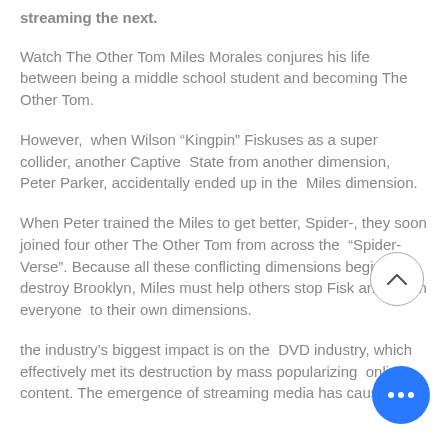streaming the next.
Watch The Other Tom Miles Morales conjures his life between being a middle school student and becoming The Other Tom.
However, when Wilson "Kingpin" Fiskuses as a super collider, another Captive State from another dimension, Peter Parker, accidentally ended up in the Miles dimension.
When Peter trained the Miles to get better, Spider-, they soon joined four other The Other Tom from across the "Spider-Verse". Because all these conflicting dimensions begin to destroy Brooklyn, Miles must help others stop Fisk and return everyone to their own dimensions.
the industry's biggest impact is on the DVD industry, which effectively met its destruction by mass popularizing online content. The emergence of streaming media has caused